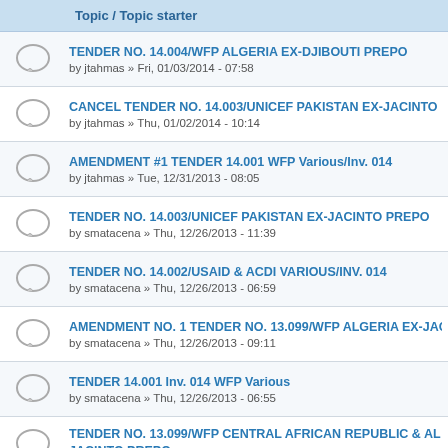|  | Topic / Topic starter |
| --- | --- |
| [icon] | TENDER NO. 14.004/WFP ALGERIA EX-DJIBOUTI PREPO
by jtahmas » Fri, 01/03/2014 - 07:58 |
| [icon] | CANCEL TENDER NO. 14.003/UNICEF PAKISTAN EX-JACINTO
by jtahmas » Thu, 01/02/2014 - 10:14 |
| [icon] | AMENDMENT #1 TENDER 14.001 WFP Various/Inv. 014
by jtahmas » Tue, 12/31/2013 - 08:05 |
| [icon] | TENDER NO. 14.003/UNICEF PAKISTAN EX-JACINTO PREPO
by smatacena » Thu, 12/26/2013 - 11:39 |
| [icon] | TENDER NO. 14.002/USAID & ACDI VARIOUS/INV. 014
by smatacena » Thu, 12/26/2013 - 06:59 |
| [icon] | AMENDMENT NO. 1 TENDER NO. 13.099/WFP ALGERIA EX-JAC
by smatacena » Thu, 12/26/2013 - 09:11 |
| [icon] | TENDER 14.001 Inv. 014 WFP Various
by smatacena » Thu, 12/26/2013 - 06:55 |
| [icon] | TENDER NO. 13.099/WFP CENTRAL AFRICAN REPUBLIC & AL JACINTO PREPO |